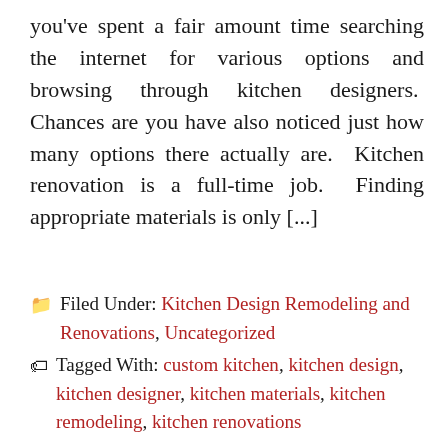you've spent a fair amount time searching the internet for various options and browsing through kitchen designers.  Chances are you have also noticed just how many options there actually are.  Kitchen renovation is a full-time job.  Finding appropriate materials is only [...]
Filed Under: Kitchen Design Remodeling and Renovations, Uncategorized
Tagged With: custom kitchen, kitchen design, kitchen designer, kitchen materials, kitchen remodeling, kitchen renovations